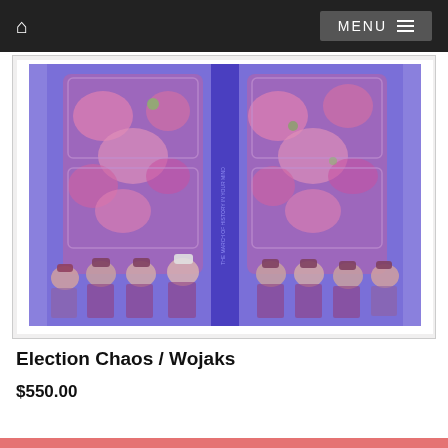MENU
[Figure (illustration): Colorful abstract artwork with purple and pink hues featuring stylized human figures wearing hats at the bottom and decorative circular/oval patterns above, appearing to be a mixed-media print titled Election Chaos / Wojaks]
Election Chaos / Wojaks
$550.00